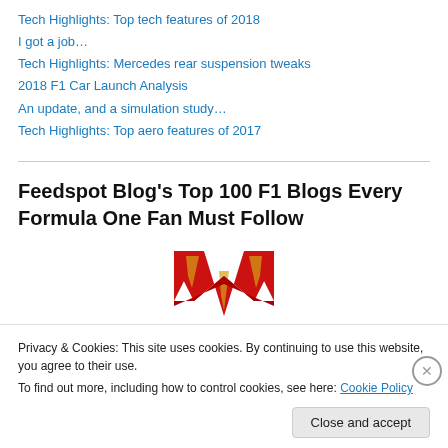Tech Highlights: Top tech features of 2018
I got a job…
Tech Highlights: Mercedes rear suspension tweaks
2018 F1 Car Launch Analysis
An update, and a simulation study…
Tech Highlights: Top aero features of 2017
Feedspot Blog's Top 100 F1 Blogs Every Formula One Fan Must Follow
[Figure (logo): Red and gold W-shaped logo/badge on white background]
Privacy & Cookies: This site uses cookies. By continuing to use this website, you agree to their use.
To find out more, including how to control cookies, see here: Cookie Policy